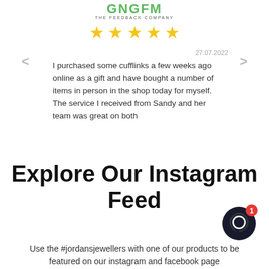[Figure (logo): GnGfm The Feedback Company logo in green uppercase letters with subtitle]
[Figure (infographic): Five yellow star rating icons]
27.07.2022
< (left arrow navigation)
> (right arrow navigation)
I purchased some cufflinks a few weeks ago online as a gift and have bought a number of items in person in the shop today for myself. The service I received from Sandy and her team was great on both
Explore Our Instagram Feed
[Figure (illustration): Dark circular chat icon with red notification badge showing number 1]
Use the #jordansjewellers with one of our products to be featured on our instagram and facebook page